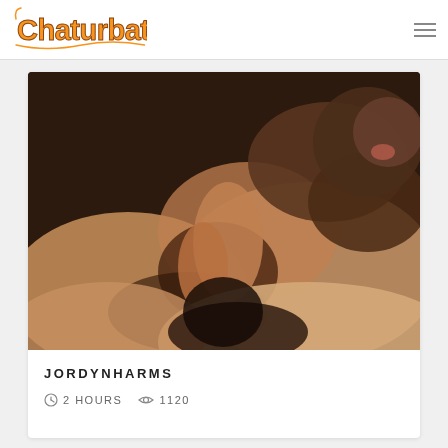Chaturbate
[Figure (photo): Adult content thumbnail showing two people in an intimate scene, dark background, blurred/grainy photo]
JORDYNHARMS
2 HOURS   1120